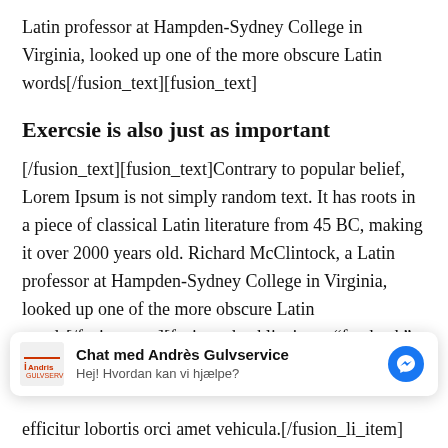Latin professor at Hampden-Sydney College in Virginia, looked up one of the more obscure Latin words[/fusion_text][fusion_text]
Exercsie is also just as important
[/fusion_text][fusion_text]Contrary to popular belief, Lorem Ipsum is not simply random text. It has roots in a piece of classical Latin literature from 45 BC, making it over 2000 years old. Richard McClintock, a Latin professor at Hampden-Sydney College in Virginia, looked up one of the more obscure Latin words[/fusion_text][fusion_checklist icon="fa-check" iconcolor="" circle="" circlecolor="" size="17px"
[Figure (other): Facebook Messenger chat widget for Andrès Gulvservice with logo, title 'Chat med Andrès Gulvservice', subtitle 'Hej! Hvordan kan vi hjælpe?', and blue Messenger icon]
efficitur lobortis orci amet vehicula.[/fusion_li_item]